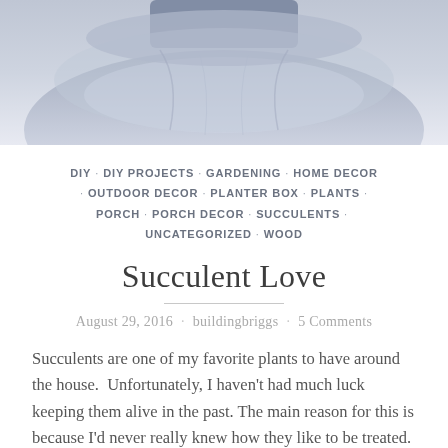[Figure (photo): Top portion of a blog post image showing a fabric/cloth planter bag in gray/blue tones, partially cropped at top]
DIY · DIY PROJECTS · GARDENING · HOME DECOR · OUTDOOR DECOR · PLANTER BOX · PLANTS · PORCH · PORCH DECOR · SUCCULENTS · UNCATEGORIZED · WOOD
Succulent Love
August 29, 2016 · buildingbriggs · 5 Comments
Succulents are one of my favorite plants to have around the house.  Unfortunately, I haven't had much luck keeping them alive in the past. The main reason for this is because I'd never really knew how they like to be treated. I figured they were just like any other plant I've had in our home....